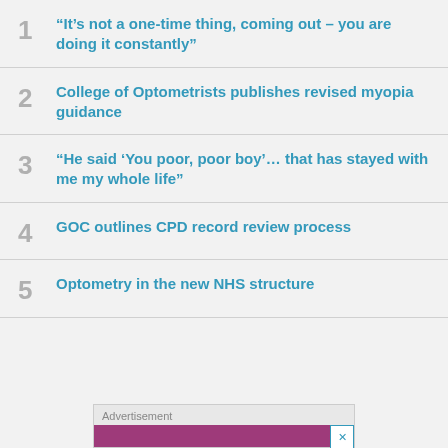1 “It’s not a one-time thing, coming out – you are doing it constantly”
2 College of Optometrists publishes revised myopia guidance
3 “He said ‘You poor, poor boy’… that has stayed with me my whole life”
4 GOC outlines CPD record review process
5 Optometry in the new NHS structure
Advertisement